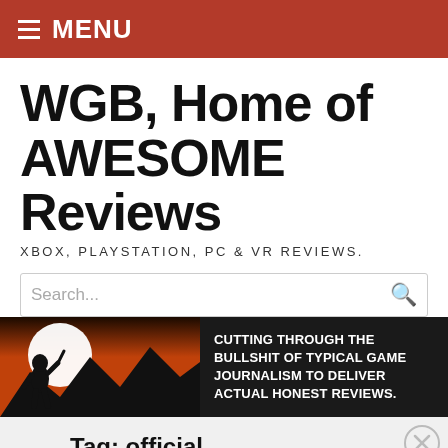≡ MENU
WGB, Home of AWESOME Reviews
XBOX, PLAYSTATION, PC & VR REVIEWS.
[Figure (other): Search bar with placeholder text 'Search...' and red search icon]
[Figure (illustration): Banner image with bigfoot silhouette on mountain landscape with orange/red sky. Text reads: CUTTING THROUGH THE BULLSHIT OF TYPICAL GAME JOURNALISM TO DELIVER ACTUAL HONEST REVIEWS.]
Tag: official
Advertisements